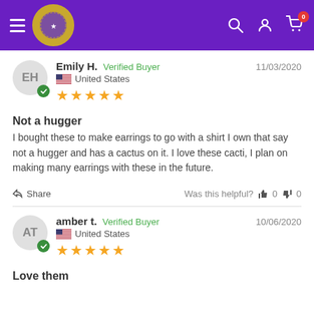[Figure (screenshot): E-commerce website header with purple background, hamburger menu, circular logo, search icon, account icon, and cart icon with badge showing 0]
Emily H. Verified Buyer 11/03/2020 United States ★★★★★
Not a hugger
I bought these to make earrings to go with a shirt I own that say not a hugger and has a cactus on it. I love these cacti, I plan on making many earrings with these in the future.
Share Was this helpful? 👍 0 👎 0
amber t. Verified Buyer 10/06/2020 United States ★★★★★
Love them